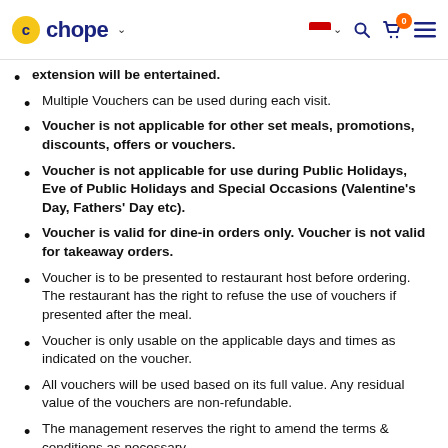chope (logo/navigation header)
extension will be entertained.
Multiple Vouchers can be used during each visit.
Voucher is not applicable for other set meals, promotions, discounts, offers or vouchers.
Voucher is not applicable for use during Public Holidays, Eve of Public Holidays and Special Occasions (Valentine's Day, Fathers' Day etc).
Voucher is valid for dine-in orders only. Voucher is not valid for takeaway orders.
Voucher is to be presented to restaurant host before ordering. The restaurant has the right to refuse the use of vouchers if presented after the meal.
Voucher is only usable on the applicable days and times as indicated on the voucher.
All vouchers will be used based on its full value. Any residual value of the vouchers are non-refundable.
The management reserves the right to amend the terms & conditions as necessary.